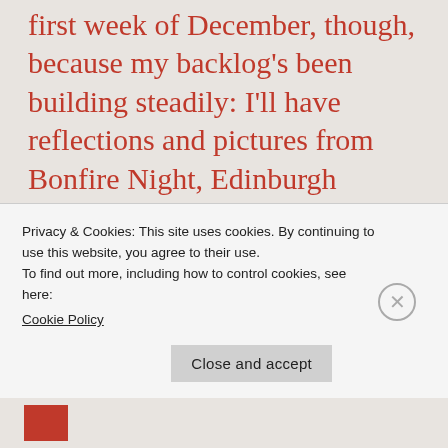first week of December, though, because my backlog's been building steadily: I'll have reflections and pictures from Bonfire Night, Edinburgh Castle, the local folk music scene, and university life. And, of course, there are a few adventures from the tail end of my stay in Germany that slipped through the cracks – most notably my sojourn in St. Annaberg, Poland, and a learning how to
Privacy & Cookies: This site uses cookies. By continuing to use this website, you agree to their use.
To find out more, including how to control cookies, see here:
Cookie Policy
Close and accept